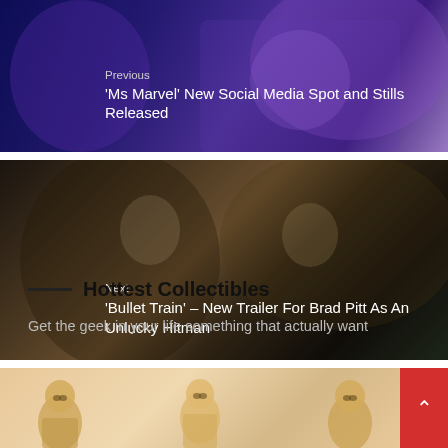[Figure (photo): Previous navigation banner with dark blue/purple background showing Ms Marvel promotional imagery]
Previous
'Ms Marvel' New Social Media Spot and Stills Released
[Figure (photo): Next navigation banner showing two people in a fight scene from Bullet Train movie]
Next
'Bullet Train' – New Trailer For Brad Pitt As An Unlucky Hitman
Hottest Collectibles
Get the geek in your life something that actually want
[Figure (photo): Collectibles product image showing figurines on a peach/salmon colored background]